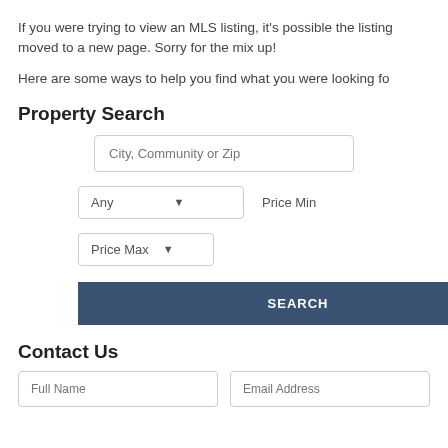If you were trying to view an MLS listing, it's possible the listing moved to a new page. Sorry for the mix up!
Here are some ways to help you find what you were looking for:
Property Search
[Figure (screenshot): Property search form with city/community/zip input, price min dropdown, price max dropdown, and a SEARCH button]
Contact Us
[Figure (screenshot): Contact form with Full Name and Email Address input fields]